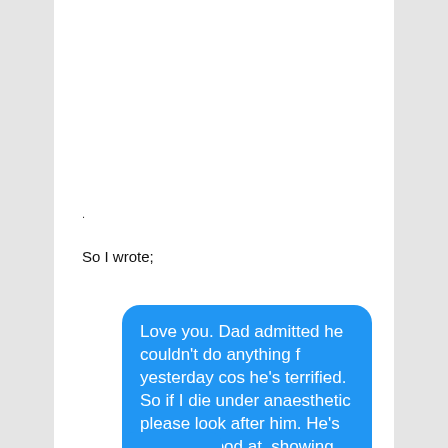.
So I wrote;
[Figure (screenshot): Blue iMessage chat bubble with white text reading: Love you. Dad admitted he couldn't do anything f yesterday cos he's terrified. So if I die under anaesthetic please look after him. He's not very good at  showing emotion bless him.]